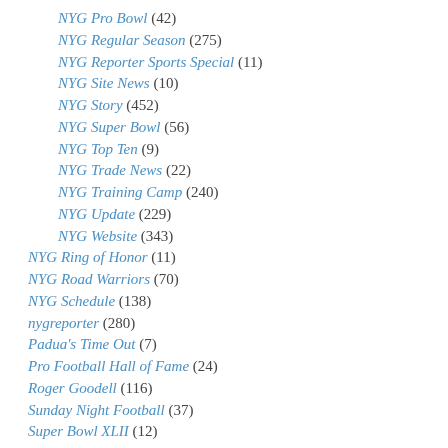NYG Pro Bowl (42)
NYG Regular Season (275)
NYG Reporter Sports Special (11)
NYG Site News (10)
NYG Story (452)
NYG Super Bowl (56)
NYG Top Ten (9)
NYG Trade News (22)
NYG Training Camp (240)
NYG Update (229)
NYG Website (343)
NYG Ring of Honor (11)
NYG Road Warriors (70)
NYG Schedule (138)
nygreporter (280)
Padua's Time Out (7)
Pro Football Hall of Fame (24)
Roger Goodell (116)
Sunday Night Football (37)
Super Bowl XLII (12)